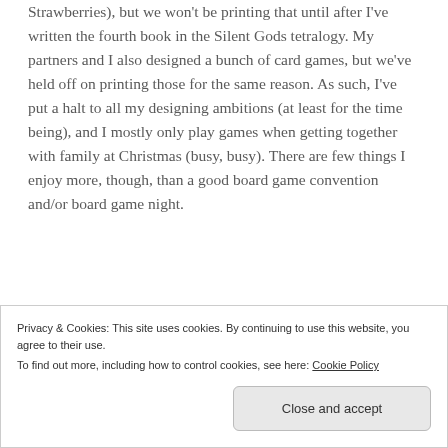Strawberries), but we won't be printing that until after I've written the fourth book in the Silent Gods tetralogy. My partners and I also designed a bunch of card games, but we've held off on printing those for the same reason. As such, I've put a halt to all my designing ambitions (at least for the time being), and I mostly only play games when getting together with family at Christmas (busy, busy). There are few things I enjoy more, though, than a good board game convention and/or board game night.
Privacy & Cookies: This site uses cookies. By continuing to use this website, you agree to their use.
To find out more, including how to control cookies, see here: Cookie Policy
Close and accept